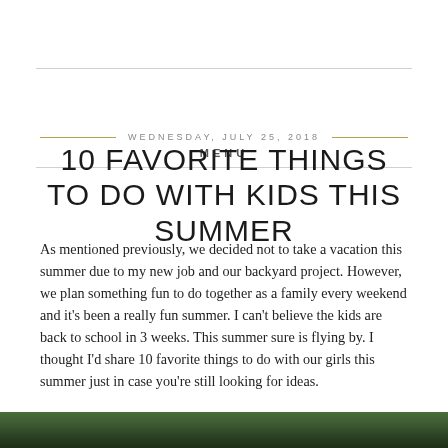MENU
WEDNESDAY, JULY 25, 2018
10 FAVORITE THINGS TO DO WITH KIDS THIS SUMMER
As mentioned previously, we decided not to take a vacation this summer due to my new job and our backyard project. However, we plan something fun to do together as a family every weekend and it's been a really fun summer. I can't believe the kids are back to school in 3 weeks. This summer sure is flying by. I thought I'd share 10 favorite things to do with our girls this summer just in case you're still looking for ideas.
[Figure (photo): Bottom strip of a green nature/forest photo, partially visible at the bottom of the page]